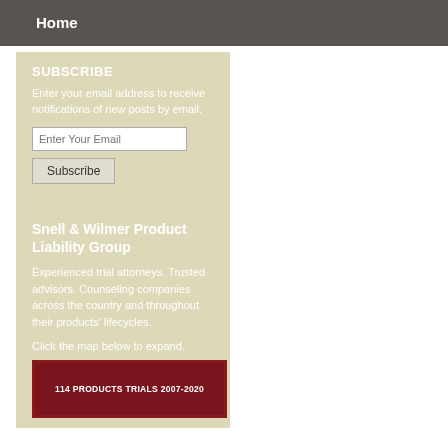Home
SUBSCRIBE
Enter your email address to receive notifications of new posts by email.
Snell & Wilmer Product Liability Group
Experienced trial attorneys. Trusted advisors. Counseling companies across the country and throughout their products' lifecycles.
Click the map below to expand.
[Figure (other): Map preview image with text '114 PRODUCTS TRIALS 2007-2020']